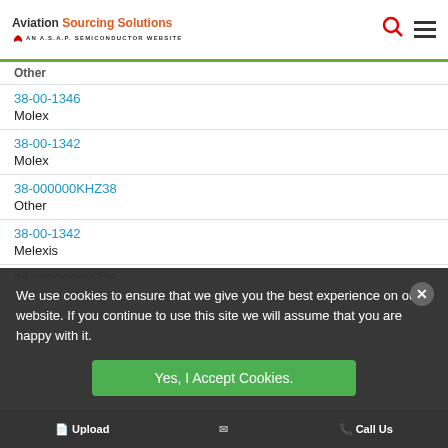Aviation Sourcing Solutions - AN A.S.A.P. SEMICONDUCTOR WEBSITE
Other
38-00-1346
Molex
38-00-1342
Molex
38-000000KHZ38
Other
38-00-1342
Melexis
38-000000KHZ26
Other
We use cookies to ensure that we give you the best experience on our website. If you continue to use this site we will assume that you are happy with it.
Upload | Call Us